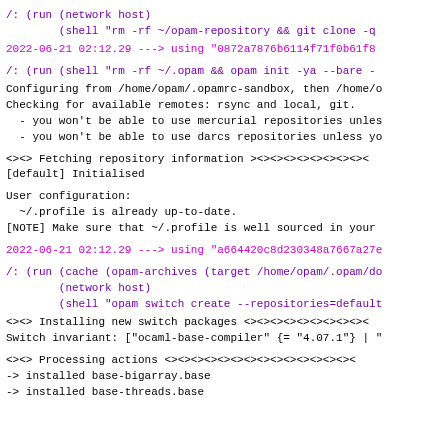/: (run (network host)
        (shell "rm -rf ~/opam-repository && git clone -q
2022-06-21 02:12.29 ---> using "0872a7876b6114f71f0b61f8
/: (run (shell "rm -rf ~/.opam && opam init -ya --bare -
Configuring from /home/opam/.opamrc-sandbox, then /home/o
Checking for available remotes: rsync and local, git.
- you won't be able to use mercurial repositories unles
- you won't be able to use darcs repositories unless yo
<><> Fetching repository information ><><><><><><><><><
[default] Initialised
User configuration:
  ~/.profile is already up-to-date.
[NOTE] Make sure that ~/.profile is well sourced in your
2022-06-21 02:12.29 ---> using "a664420c8d230348a7667a27e
/: (run (cache (opam-archives (target /home/opam/.opam/do
        (network host)
        (shell "opam switch create --repositories=default
<><> Installing new switch packages <><><><><><><><><><
Switch invariant: ["ocaml-base-compiler" {= "4.07.1"} | "
<><> Processing actions <><><><><><><><><><><><><><><><
-> installed base-bigarray.base
-> installed base-threads.base